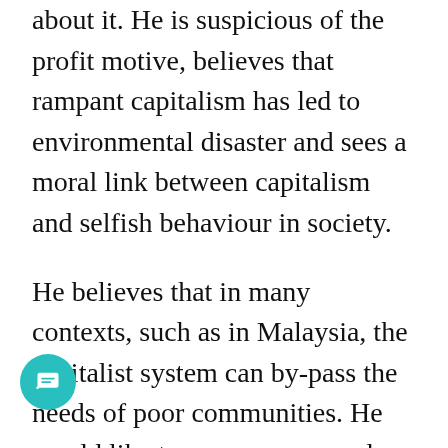about it. He is suspicious of the profit motive, believes that rampant capitalism has led to environmental disaster and sees a moral link between capitalism and selfish behaviour in society.
He believes that in many contexts, such as in Malaysia, the capitalist system can by-pass the needs of poor communities. He would like to see a more equal society. That entails not sitting by and idly wishing for it or just talking intellectually about it, but actually working to ensure that the poor are organised and have strong leverage in society.
Kumar might have a dream of more equality a less materialistic life, but it is not a violent dream. It is not a dream that denies religion